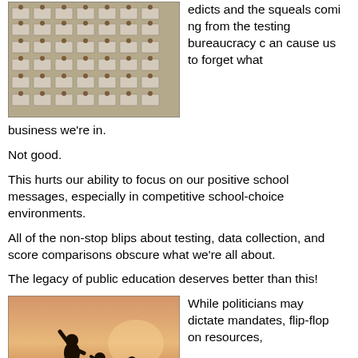[Figure (photo): Large exam hall filled with students sitting at individual desks, taking a test, aerial-angle view]
edicts and the squeals coming from the testing bureaucracy can cause us to forget what business we're in.
business we're in.
Not good.
This hurts our ability to focus on our positive school messages, especially in competitive school-choice environments.
All of the non-stop blips about testing, data collection, and score comparisons obscure what we're all about.
The legacy of public education deserves better than this!
[Figure (photo): Silhouette of children playing outdoors at sunset, one child has arm raised]
While politicians may dictate mandates, flip-flop on resources,